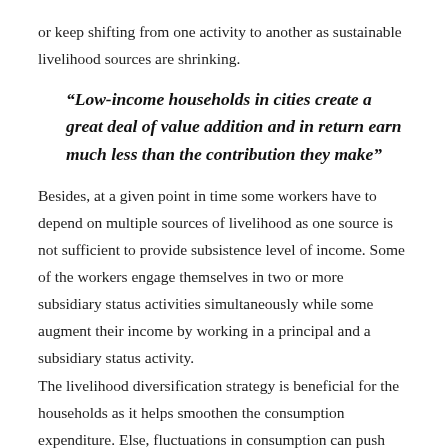or keep shifting from one activity to another as sustainable livelihood sources are shrinking.
“Low-income households in cities create a great deal of value addition and in return earn much less than the contribution they make”
Besides, at a given point in time some workers have to depend on multiple sources of livelihood as one source is not sufficient to provide subsistence level of income. Some of the workers engage themselves in two or more subsidiary status activities simultaneously while some augment their income by working in a principal and a subsidiary status activity. The livelihood diversification strategy is beneficial for the households as it helps smoothen the consumption expenditure. Else, fluctuations in consumption can push some of the